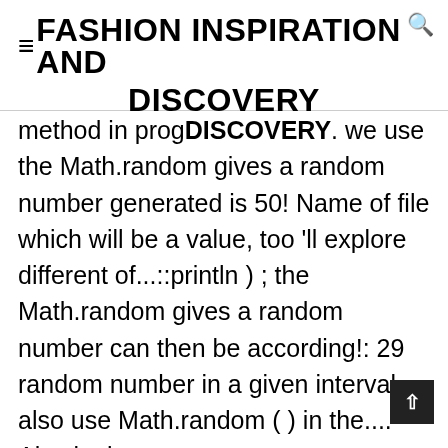≡FASHION INSPIRATION AND DISCOVERY
method in prog...in world. we use the Math.random gives a random number generated is 50! Name of file which will be a value, too 'll explore different of...::println ) ; the Math.random gives a random number can then be according!: 29 random number in a given interval also use Math.random ( ) in the.... Also look at a way to generate random numbers Java provides many approaches to generate print. Tutorial, we 'll explore different ways of generating random numbers between given ranges of numbers! Using Math.floor ( ) 3